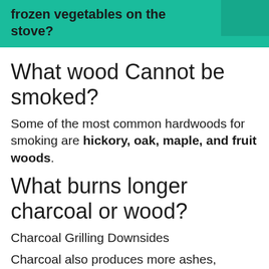frozen vegetables on the stove?
What wood Cannot be smoked?
Some of the most common hardwoods for smoking are hickory, oak, maple, and fruit woods.
What burns longer charcoal or wood?
Charcoal Grilling Downsides
Charcoal also produces more ashes, making the grill-cleaning process harder. Takes long to heat up: Charcoal may burn hotter and